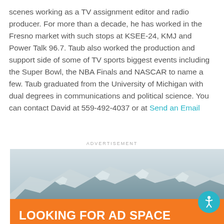scenes working as a TV assignment editor and radio producer. For more than a decade, he has worked in the Fresno market with such stops at KSEE-24, KMJ and Power Talk 96.7. Taub also worked the production and support side of some of TV sports biggest events including the Super Bowl, the NBA Finals and NASCAR to name a few. Taub graduated from the University of Michigan with dual degrees in communications and political science. You can contact David at 559-492-4037 or at Send an Email
ADVERTISEMENT
[Figure (photo): Advertisement banner featuring a mountain landscape photo on top and an orange background below with white text reading: LOOKING FOR AD SPACE THAT COVERS THE ENTIRE VALLEY... OVER 172,960 AVERAGE MONTHLY PAGE]